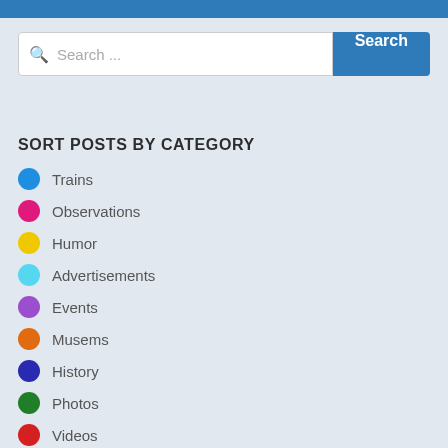[Figure (screenshot): Blue top navigation bar]
[Figure (screenshot): Search input field with placeholder text 'Search ...' and a blue Search button]
SORT POSTS BY CATEGORY
Trains
Observations
Humor
Advertisements
Events
Musems
History
Photos
Videos
Station Tours